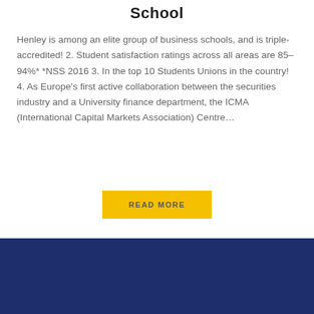School
Henley is among an elite group of business schools, and is triple-accredited! 2. Student satisfaction ratings across all areas are 85–94%* *NSS 2016 3. In the top 10 Students Unions in the country! 4. As Europe's first active collaboration between the securities industry and a University finance department, the ICMA (International Capital Markets Association) Centre…
READ MORE